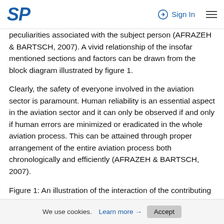SP | Sign In
peculiarities associated with the subject person (AFRAZEH & BARTSCH, 2007). A vivid relationship of the insofar mentioned sections and factors can be drawn from the block diagram illustrated by figure 1.
Clearly, the safety of everyone involved in the aviation sector is paramount. Human reliability is an essential aspect in the aviation sector and it can only be observed if and only if human errors are minimized or eradicated in the whole aviation process. This can be attained through proper arrangement of the entire aviation process both chronologically and efficiently (AFRAZEH & BARTSCH, 2007).
Figure 1: An illustration of the interaction of the contributing factors to flight safety (AFRAZEH & BARTSCH, 2007)
We use cookies. Learn more → Accept